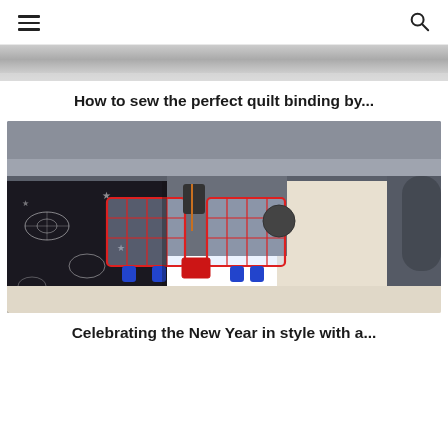Navigation menu and search icon
[Figure (photo): Top partial image - appears to be a grey/silver surface, likely the top of a sewing machine]
How to sew the perfect quilt binding by...
[Figure (photo): Close-up photo of a sewing machine presser foot with a quilting guide attachment (red grid lines) on dark fabric with white floral/star pattern and light cream fabric]
Celebrating the New Year in style with a...